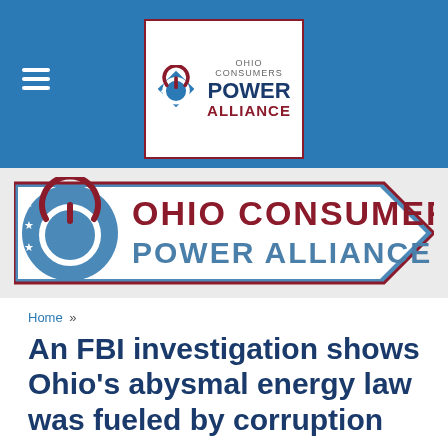[Figure (logo): Ohio Consumers Power Alliance logo with power button icon, shown in white box with dark red border, on blue header background. Also hamburger menu icon on left.]
[Figure (logo): Ohio Consumers Power Alliance banner logo — large horizontal banner with blue and white pennant shapes, power button icon on left, text 'OHIO CONSUMERS POWER ALLIANCE' in red and steel blue.]
Home »
An FBI investigation shows Ohio's abysmal energy law was fueled by corruption